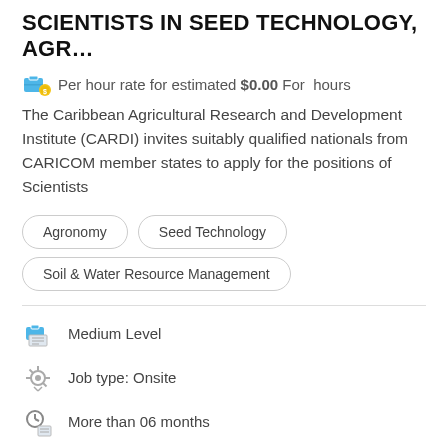SCIENTISTS IN SEED TECHNOLOGY, AGR…
Per hour rate for estimated $0.00 For hours
The Caribbean Agricultural Research and Development Institute (CARDI) invites suitably qualified nationals from CARICOM member states to apply for the positions of Scientists
Agronomy
Seed Technology
Soil & Water Resource Management
Medium Level
Job type: Onsite
More than 06 months
Project type: Hourly